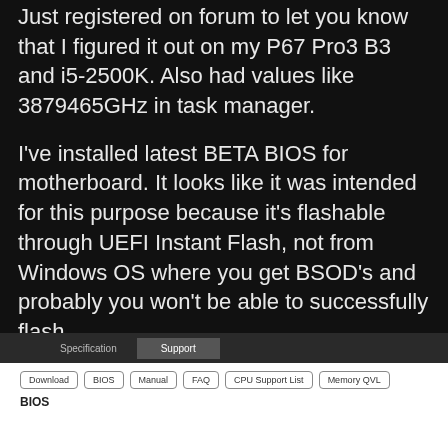Just registered on forum to let you know that I figured it out on my P67 Pro3 B3 and i5-2500K. Also had values like 3879465GHz in task manager.
I've installed latest BETA BIOS for motherboard. It looks like it was intended for this purpose because it's flashable through UEFI Instant Flash, not from Windows OS where you get BSOD's and probably you won't be able to successfully flash.
Now the values in task manager are normal and I don't get any BSOD's
[Figure (screenshot): Screenshot of a website showing Specification and Support tabs, with Download, BIOS, Manual, FAQ, CPU Support List, and Memory QVL buttons, and a BIOS section header below.]